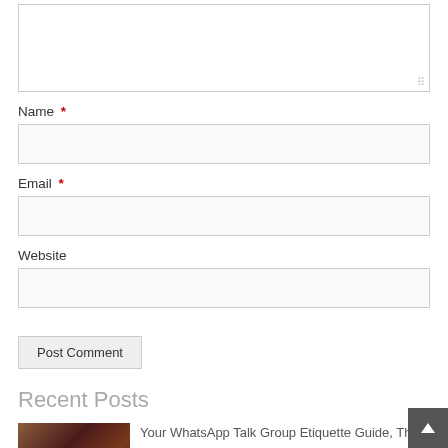[Figure (screenshot): Comment textarea (top part, partially cropped) with resize handle in bottom-right corner]
Name *
[Figure (screenshot): Name input text field, empty, light gray background]
Email *
[Figure (screenshot): Email input text field, empty, light gray background]
Website
[Figure (screenshot): Website input text field, empty, light gray background]
[Figure (screenshot): Post Comment button with gray background and border]
Recent Posts
[Figure (photo): Thumbnail photo with dark warm interior scene]
Your WhatsApp Talk Group Etiquette Guide, The Swaddle